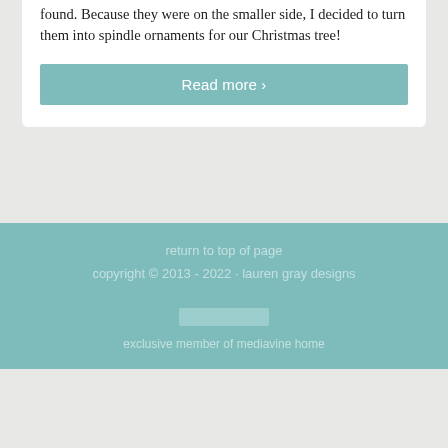found. Because they were on the smaller side, I decided to turn them into spindle ornaments for our Christmas tree!
Read more ›
return to top of page
copyright © 2013 - 2022 · lauren gray designs
exclusive member of mediavine home